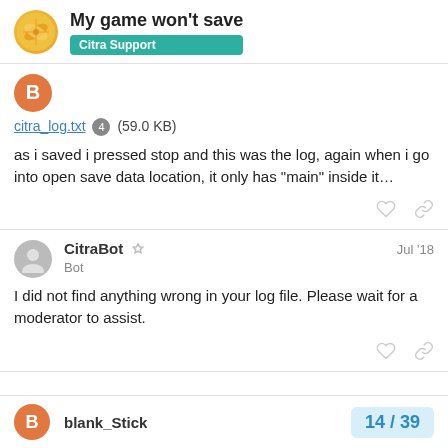My game won't save
Citra Support
citra_log.txt 4 (59.0 KB)
as i saved i pressed stop and this was the log, again when i go into open save data location, it only has “main” inside it…
CitraBot Bot Jul '18
I did not find anything wrong in your log file. Please wait for a moderator to assist.
blank_Stick
14 / 39